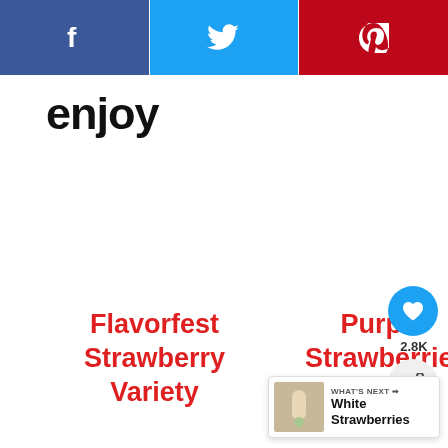[Figure (infographic): Social share bar with Facebook (blue), Twitter (light blue), and Pinterest (red) buttons with icons]
enjoy
Flavorfest Strawberry Variety
Purple Strawberries
[Figure (infographic): Floating action buttons: heart icon (blue circle) with count 2.8K and share icon (grey circle)]
[Figure (infographic): What's Next card with thumbnail image and text 'White Strawberries']